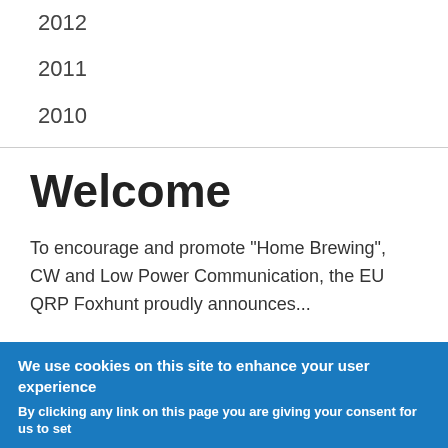2012
2011
2010
Welcome
To encourage and promote  "Home Brewing", CW and Low Power Communication, the EU QRP Foxhunt proudly announces...
We use cookies on this site to enhance your user experience
By clicking any link on this page you are giving your consent for us to set